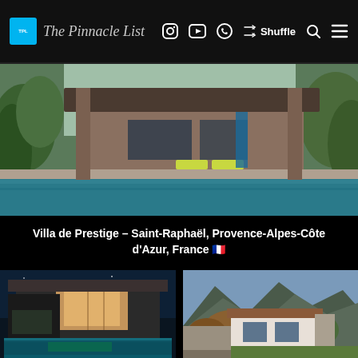The Pinnacle List
[Figure (photo): Luxury villa with rectangular infinity pool, modern architecture with dark overhanging roof, green lawn and palm trees, Provence-Alpes-Côte d'Azur, France]
Villa de Prestige – Saint-Raphaël, Provence-Alpes-Côte d'Azur, France 🇫🇷
[Figure (photo): Modern two-story residence with illuminated pool at dusk, Isle of Capri, Surfers Paradise, QLD, Australia]
47 The Promenade Residence – Isle of Capri, Surfers Paradise, QLD, Australia 🇦🇺
[Figure (photo): Contemporary villa surrounded by mountains and green landscape, Postalesio, Sondrio, Lombardy, Italy]
Casa GT Luxury Villa – Postalesio, Sondrio, Lombardy, Italy 🇮🇹